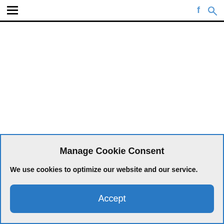≡  f 🔍
DC braces for Trump-endorsed anti-democracy rally on Wednesday
Manage Cookie Consent
We use cookies to optimize our website and our service.
Accept